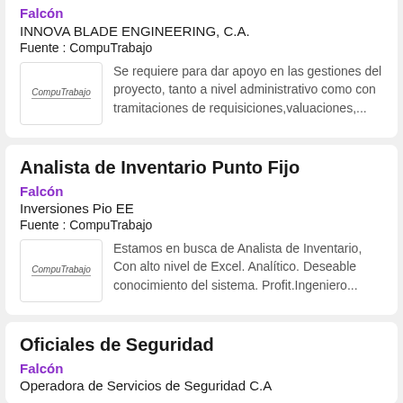Falcón
INNOVA BLADE ENGINEERING, C.A.
Fuente : CompuTrabajo
Se requiere para dar apoyo en las gestiones del proyecto, tanto a nivel administrativo como con tramitaciones de requisiciones,valuaciones,...
Analista de Inventario Punto Fijo
Falcón
Inversiones Pio EE
Fuente : CompuTrabajo
Estamos en busca de Analista de Inventario, Con alto nivel de Excel. Analítico. Deseable conocimiento del sistema. Profit.Ingeniero...
Oficiales de Seguridad
Falcón
Operadora de Servicios de Seguridad C.A